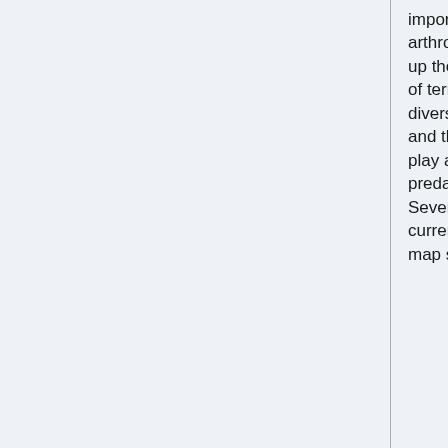important group of arthropods. Spiders make up the largest proportion of terrestrial invertebrate diversity after the insects and the mites, and they play a significant role as predators in ecosystems. Several initiatives are currently under-way to map spider distributions,